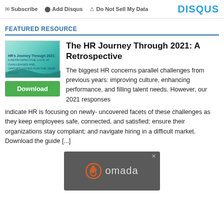Subscribe  Add Disqus  Do Not Sell My Data  DISQUS
FEATURED RESOURCE
The HR Journey Through 2021: A Retrospective
[Figure (illustration): Cover image of report titled HR's Journey Through 2021 with teal/green abstract wave design]
Download
The biggest HR concerns parallel challenges from previous years: improving culture, enhancing performance, and filling talent needs. However, our 2021 responses indicate HR is focusing on newly- uncovered facets of these challenges as they keep employees safe, connected, and satisfied; ensure their organizations stay compliant; and navigate hiring in a difficult market. Download the guide [...]
[Figure (logo): Omada logo advertisement on dark gray background]